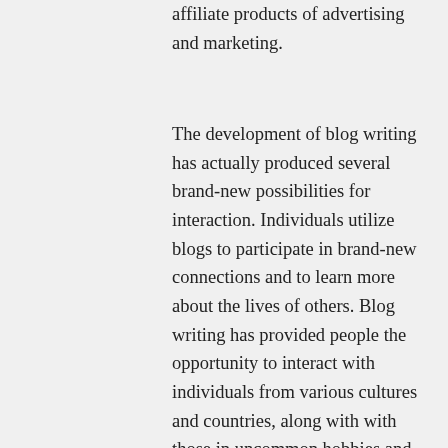affiliate products of advertising and marketing.
The development of blog writing has actually produced several brand-new possibilities for interaction. Individuals utilize blogs to participate in brand-new connections and to learn more about the lives of others. Blog writing has provided people the opportunity to interact with individuals from various cultures and countries, along with with those in uncommon hobbies and occupations. Blog writing has likewise permitted individuals to share information that was formerly just available offline. So, if you want to express on your own in a significant